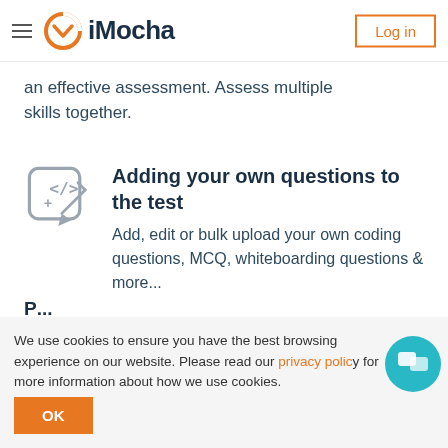iMocha — Log in
an effective assessment. Assess multiple skills together.
Adding your own questions to the test
Add, edit or bulk upload your own coding questions, MCQ, whiteboarding questions & more...
We use cookies to ensure you have the best browsing experience on our website. Please read our privacy policy for more information about how we use cookies.